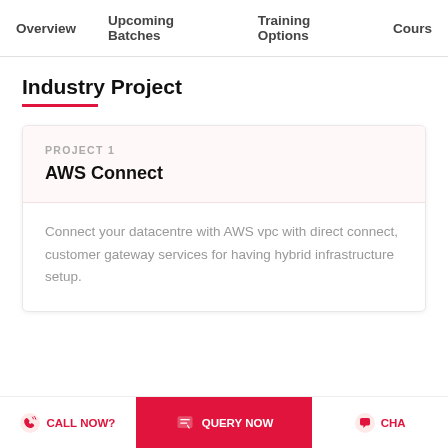Overview   Upcoming Batches   Training Options   Cours
Industry Project
PROJECT 1
AWS Connect
Connect your datacentre with AWS vpc with direct connect, customer gateway services for having hybrid infrastructure setup.
CALL NOW?   QUERY NOW   CHA